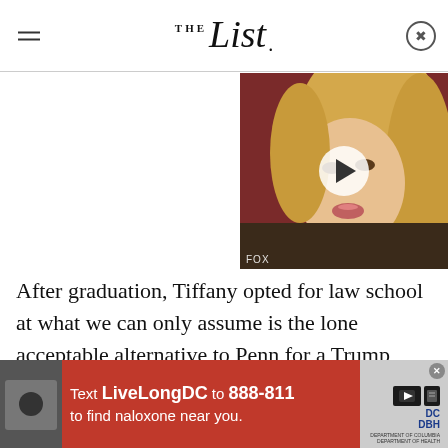THE List
[Figure (photo): Video thumbnail showing a blonde woman, with a white play button overlay in the center. Small label 'FOX' at bottom left.]
After graduation, Tiffany opted for law school at what we can only assume is the lone acceptable alternative to Penn for a Trump child: Georgetown University. She graduated in May 2020 (via People), and though she has not announced any specific plans to take the bar exam or work at a law firm, she did hint that she might
[Figure (infographic): Red advertisement banner: Text LiveLongDC to 888-811 to find naloxone near you. Features DC Health (DBH) logo and media icons on the right side.]